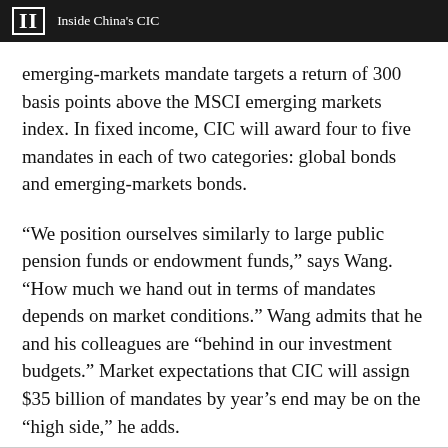II  Inside China's CIC
emerging-markets mandate targets a return of 300 basis points above the MSCI emerging markets index. In fixed income, CIC will award four to five mandates in each of two categories: global bonds and emerging-markets bonds.
“We position ourselves similarly to large public pension funds or endowment funds,” says Wang. “How much we hand out in terms of mandates depends on market conditions.” Wang admits that he and his colleagues are “behind in our investment budgets.” Market expectations that CIC will assign $35 billion of mandates by year’s end may be on the “high side,” he adds.